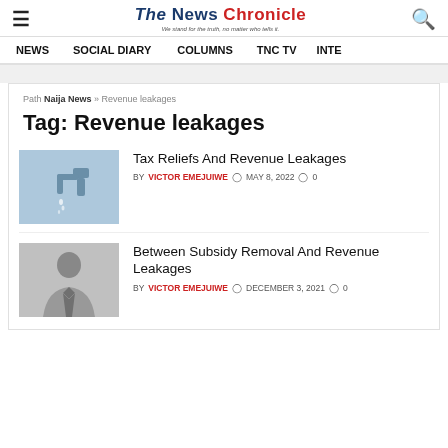The News Chronicle — We stand for the truth, no matter who tells it.
NEWS   SOCIAL DIARY   COLUMNS   TNC TV   INTE
Path Naija News » Revenue leakages
Tag: Revenue leakages
[Figure (photo): Thumbnail image showing a dripping faucet on light blue background, representing revenue leakage]
Tax Reliefs And Revenue Leakages
BY VICTOR EMEJUIWE  MAY 8, 2022  0
[Figure (photo): Thumbnail image showing a man in a suit on grey background]
Between Subsidy Removal And Revenue Leakages
BY VICTOR EMEJUIWE  DECEMBER 3, 2021  0